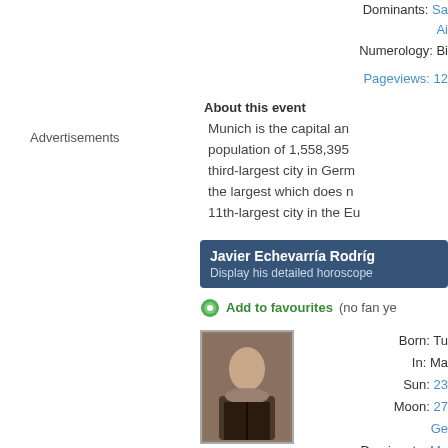Advertisements
Dominants: Sa Ai
Numerology: Bi
Pageviews: 12
About this event
Munich is the capital and population of 1,558,395 third-largest city in Germ the largest which does n 11th-largest city in the Eu
Javier Echevarría Rodríg
Display his detailed horoscope
Add to favourites (no fan ye
Born: Tu In: Ma Sun: 23 Moon: 27 Ge Dominants: Me